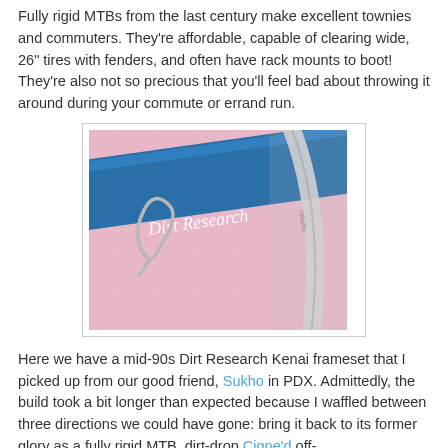Fully rigid MTBs from the last century make excellent townies and commuters. They're affordable, capable of clearing wide, 26" tires with fenders, and often have rack mounts to boot! They're also not so precious that you'll feel bad about throwing it around during your commute or errand run.
[Figure (photo): Close-up photo of a blue Dirt Research bicycle frame against a pink textured wall, showing the frame tube with 'Dirt Research' text, a bottle cage mount, and part of a silver wheel rim]
Here we have a mid-90s Dirt Research Kenai frameset that I picked up from our good friend, Sukho in PDX. Admittedly, the build took a bit longer than expected because I waffled between three directions we could have gone: bring it back to its former glory as a fully rigid MTB, dirt-drop Cigne'd off-